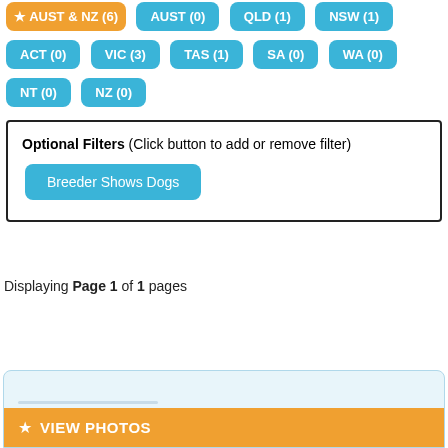AUST & NZ (6)
AUST (0)
QLD (1)
NSW (1)
ACT (0)
VIC (3)
TAS (1)
SA (0)
WA (0)
NT (0)
NZ (0)
Optional Filters (Click button to add or remove filter)
Breeder Shows Dogs
Displaying Page 1 of 1 pages
[Figure (screenshot): Bottom card with a horizontal line placeholder and an orange VIEW PHOTOS button bar]